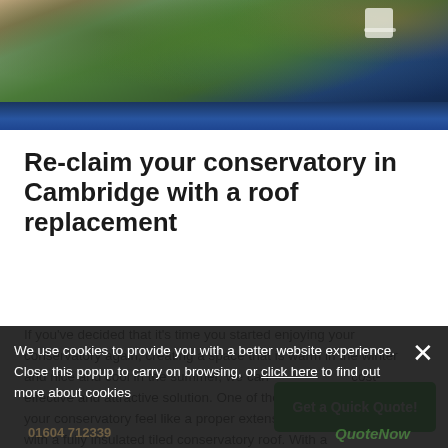[Figure (photo): Outdoor garden and patio area with greenery, brick wall, and a white chair, with a dark blue conservatory roof in the foreground]
Re-claim your conservatory in Cambridge with a roof replacement
If you've decided that it's time you started enjoying your conservatory again, creating a space that is warm in the winter and nice and cool in the summer, we can offer you a cost-effective and attractive solution. One of the best ways to make your conservatory feel like a proper extension of your home is with a fully insulated tiled conservatory roof. With a
We use cookies to provide you with a better website experience. Close this popup to carry on browsing, or click here to find out more about cookies